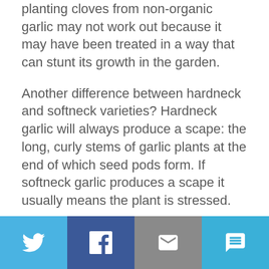planting cloves from non-organic garlic may not work out because it may have been treated in a way that can stunt its growth in the garden.
Another difference between hardneck and softneck varieties? Hardneck garlic will always produce a scape: the long, curly stems of garlic plants at the end of which seed pods form. If softneck garlic produces a scape it usually means the plant is stressed.
PLANTING
The most important consideration for planting is to ensure that garlic cloves go